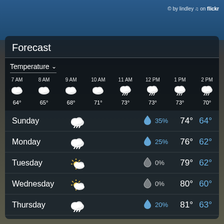© by lindley ♫ on flickr
Forecast
| Time | Icon | Temp |
| --- | --- | --- |
| 7 AM | cloudy | 64° |
| 8 AM | cloudy | 65° |
| 9 AM | cloudy | 68° |
| 10 AM | cloudy | 71° |
| 11 AM | rain | 73° |
| 12 PM | rain | 73° |
| 1 PM | rain | 73° |
| 2 PM | rain | 70° |
Sunday  35%  74°  64°
Monday  25%  76°  62°
Tuesday  0%  79°  62°
Wednesday  0%  80°  60°
Thursday  20%  81°  63°
Friday  0%  71°  58°
Saturday  0%  76°  53°